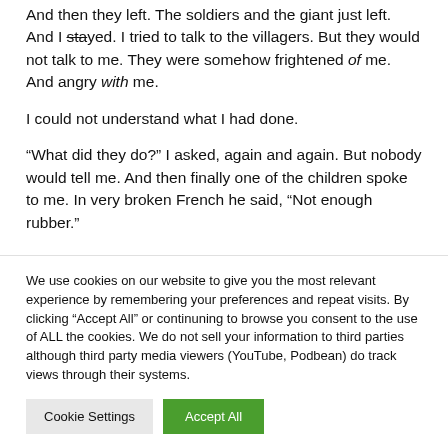And then they left. The soldiers and the giant just left. And I stayed. I tried to talk to the villagers. But they would not talk to me. They were somehow frightened of me. And angry with me.
I could not understand what I had done.
“What did they do?” I asked, again and again. But nobody would tell me. And then finally one of the children spoke to me. In very broken French he said, “Not enough rubber.”
We use cookies on our website to give you the most relevant experience by remembering your preferences and repeat visits. By clicking “Accept All” or continuning to browse you consent to the use of ALL the cookies. We do not sell your information to third parties although third party media viewers (YouTube, Podbean) do track views through their systems.